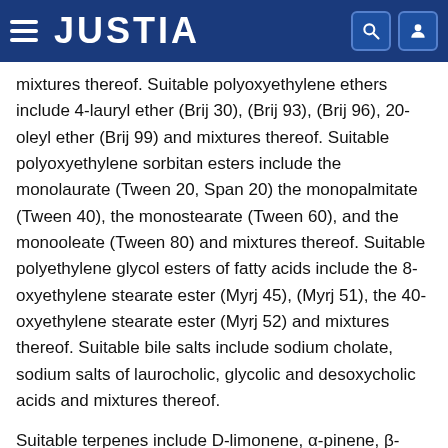JUSTIA
mixtures thereof. Suitable polyoxyethylene ethers include 4-lauryl ether (Brij 30), (Brij 93), (Brij 96), 20-oleyl ether (Brij 99) and mixtures thereof. Suitable polyoxyethylene sorbitan esters include the monolaurate (Tween 20, Span 20) the monopalmitate (Tween 40), the monostearate (Tween 60), and the monooleate (Tween 80) and mixtures thereof. Suitable polyethylene glycol esters of fatty acids include the 8-oxyethylene stearate ester (Myrj 45), (Myrj 51), the 40-oxyethylene stearate ester (Myrj 52) and mixtures thereof. Suitable bile salts include sodium cholate, sodium salts of laurocholic, glycolic and desoxycholic acids and mixtures thereof.
Suitable terpenes include D-limonene, α-pinene, β-enrene, α-terpineol, terpinen-4-ol, carvol, carvone, pulegone, piperitone, menthone, menthol, geraniol,